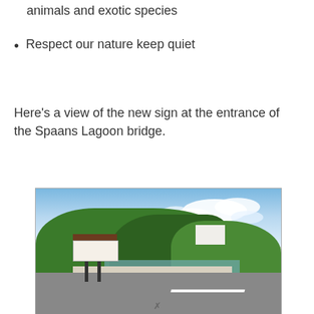animals and exotic species
Respect our nature keep quiet
Here's a view of the new sign at the entrance of the Spaans Lagoon bridge.
[Figure (photo): Photograph of the entrance sign at Spaans Lagoon bridge, showing a brown informational sign board beside a road with lush green vegetation, a lagoon/water body, and blue sky with clouds in the background.]